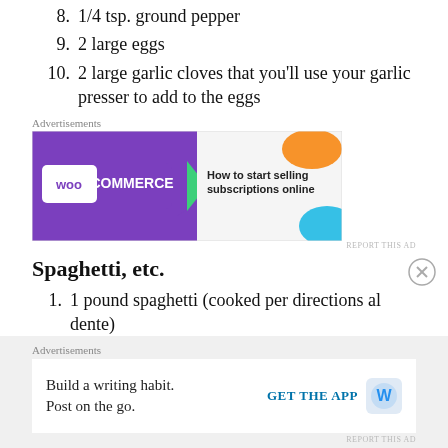8. 1/4 tsp. ground pepper
9. 2 large eggs
10. 2 large garlic cloves that you'll use your garlic presser to add to the eggs
[Figure (other): WooCommerce advertisement banner: purple background with WooCommerce logo and text 'How to start selling subscriptions online', with colorful accent shapes]
Spaghetti, etc.
1. 1 pound spaghetti (cooked per directions al dente)
2. Fresh grated Parmesan cheese for serving
3. More Italian Parsley for decoration
[Figure (other): WordPress advertisement: 'Build a writing habit. Post on the go.' with GET THE APP button and WordPress logo]